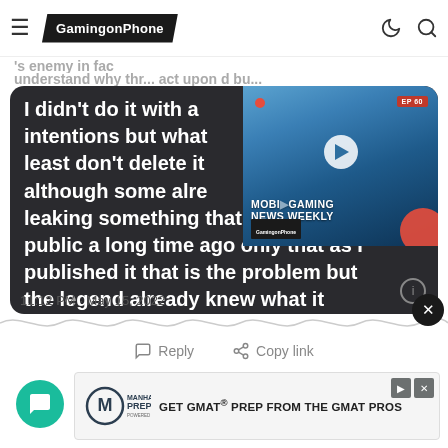GamingonPhone
[Figure (screenshot): Tweet screenshot on dark background (dark grey #2a2a2e rounded card) showing partial tweet text: 'I didn't do it with a[ny] intentions but what [I] least don't delete it [,] although some alre[ady say] leaking something that was already public a long time ago only that as I published it that is the problem but the legend already knew what it looked like and what it did but they had not seen it visually that is the'. Overlaid in top-right corner is a video thumbnail for 'Mobile Gaming News Weekly EP 60' with a play button, record dot, and red circle.]
11:12 PM · May 15, 2022
[Figure (other): Advertisement banner for Manhattan Prep: 'GET GMAT® PREP FROM THE GMAT PROS']